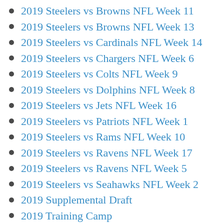2019 Steelers vs Browns NFL Week 11
2019 Steelers vs Browns NFL Week 13
2019 Steelers vs Cardinals NFL Week 14
2019 Steelers vs Chargers NFL Week 6
2019 Steelers vs Colts NFL Week 9
2019 Steelers vs Dolphins NFL Week 8
2019 Steelers vs Jets NFL Week 16
2019 Steelers vs Patriots NFL Week 1
2019 Steelers vs Rams NFL Week 10
2019 Steelers vs Ravens NFL Week 17
2019 Steelers vs Ravens NFL Week 5
2019 Steelers vs Seahawks NFL Week 2
2019 Supplemental Draft
2019 Training Camp
2019 undrafted free agency
2020 Best Game Tournament